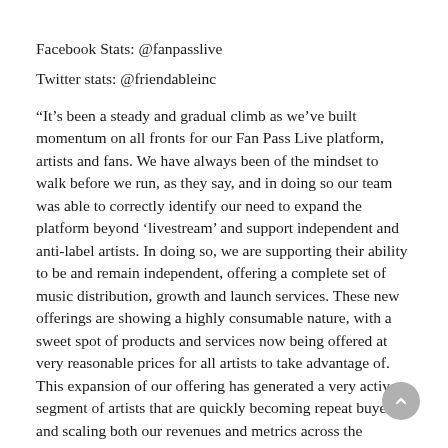Facebook Stats: @fanpasslive
Twitter stats: @friendableinc
“It’s been a steady and gradual climb as we’ve built momentum on all fronts for our Fan Pass Live platform, artists and fans. We have always been of the mindset to walk before we run, as they say, and in doing so our team was able to correctly identify our need to expand the platform beyond ‘livestream’ and support independent and anti-label artists. In doing so, we are supporting their ability to be and remain independent, offering a complete set of music distribution, growth and launch services. These new offerings are showing a highly consumable nature, with a sweet spot of products and services now being offered at very reasonable prices for all artists to take advantage of. This expansion of our offering has generated a very active segment of artists that are quickly becoming repeat buyers and scaling both our revenues and metrics across the board,” said Robert A. Rositano Jr., CEO, Friendable, Inc.
“With our speed increasing, technology advancing and artist adoption continuing, we believe our offering is one of a kind.